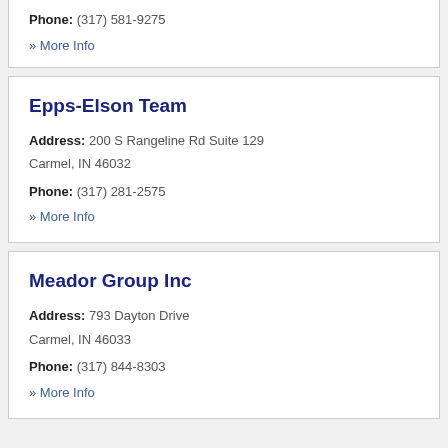Phone: (317) 581-9275
» More Info
Epps-Elson Team
Address: 200 S Rangeline Rd Suite 129
Carmel, IN 46032
Phone: (317) 281-2575
» More Info
Meador Group Inc
Address: 793 Dayton Drive
Carmel, IN 46033
Phone: (317) 844-8303
» More Info